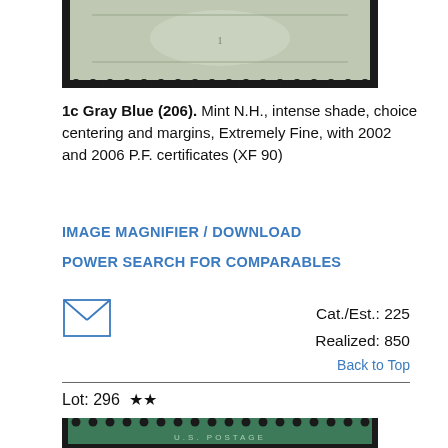[Figure (photo): Top portion of a gray-blue US postage stamp (Scott #206) with perforated edges, shown against dark background]
1c Gray Blue (206). Mint N.H., intense shade, choice centering and margins, Extremely Fine, with 2002 and 2006 P.F. certificates (XF 90)
IMAGE MAGNIFIER / DOWNLOAD
POWER SEARCH FOR COMPARABLES
[Figure (illustration): Envelope/mail icon (X inside rectangle with border)]
Cat./Est.: 225
Realized: 850
Back to Top
Lot: 296 ★★
[Figure (photo): Green US postage stamp (Scott lot 296) showing eagle motif with U.S. POSTAGE text, perforated edges, dark background]